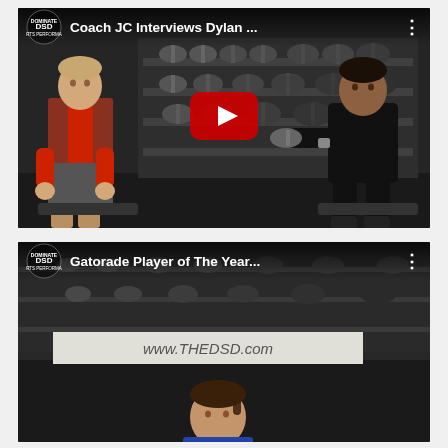[Figure (screenshot): YouTube video thumbnail showing Coach JC interviewing Dylan in a gym with dumbbells in background. Red play button overlay. Channel logo and title 'Coach JC Interviews Dylan ...' in top bar.]
[Figure (screenshot): YouTube video thumbnail showing a fitness/sports video titled 'Gatorade Player of The Year...' with channel logo, www.THEDSD.com banner, and person visible at bottom.]